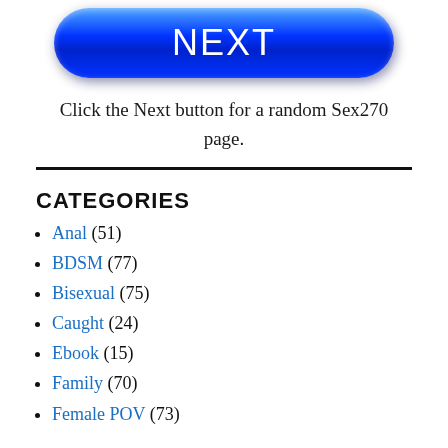[Figure (other): Blue rounded rectangle button with white text reading NEXT]
Click the Next button for a random Sex270 page.
CATEGORIES
Anal (51)
BDSM (77)
Bisexual (75)
Caught (24)
Ebook (15)
Family (70)
Female POV (73)